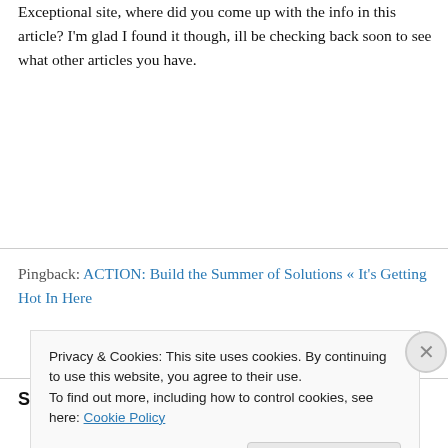Exceptional site, where did you come up with the info in this article? I'm glad I found it though, ill be checking back soon to see what other articles you have.
Pingback: ACTION: Build the Summer of Solutions « It's Getting Hot In Here
Solutionary (sol-u-tion-a-ry), n
Privacy & Cookies: This site uses cookies. By continuing to use this website, you agree to their use.
To find out more, including how to control cookies, see here: Cookie Policy